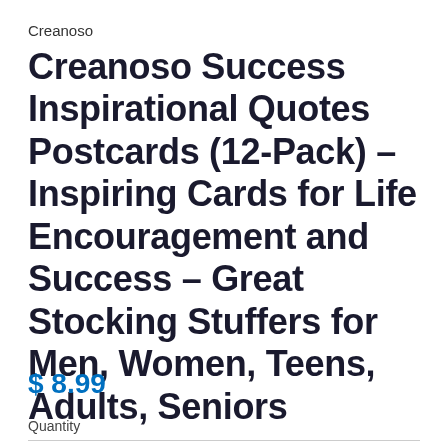Creanoso
Creanoso Success Inspirational Quotes Postcards (12-Pack) – Inspiring Cards for Life Encouragement and Success – Great Stocking Stuffers for Men, Women, Teens, Adults, Seniors
$ 8.99
Quantity